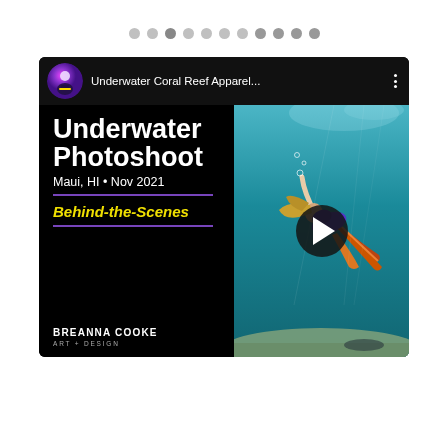[Figure (screenshot): Pagination dots row with 11 dots, one highlighted (third from left)]
[Figure (screenshot): YouTube-style video card thumbnail for 'Underwater Coral Reef Apparel...' by Breanna Cooke Art + Design. Left panel shows black background with white bold text 'Underwater Photoshoot', 'Maui, HI • Nov 2021', yellow italic 'Behind-the-Scenes', purple horizontal rules, and Breanna Cooke Art + Design logo. Right panel shows underwater photo of woman swimming in colorful attire with coral reef below. Top bar shows channel avatar (purple background), channel title 'Underwater Coral Reef Apparel...', and three vertical dots menu. Play button overlay in center-right area.]